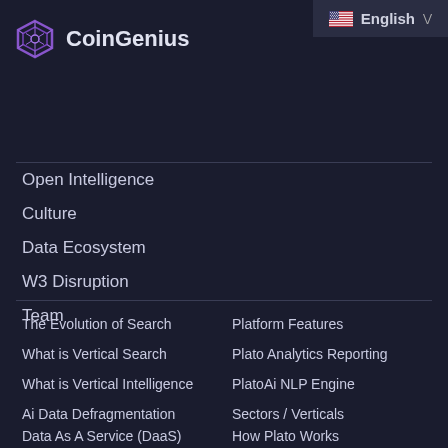🇺🇸 English
CoinGenius
Open Intelligence
Culture
Data Ecosystem
W3 Disruption
Team
The Evolution of Search
Platform Features
What is Vertical Search
Plato Analytics Reporting
What is Vertical Intelligence
PlatoAi NLP Engine
Ai Data Defragmentation
Sectors / Verticals
Data As A Service (DaaS)
How Plato Works